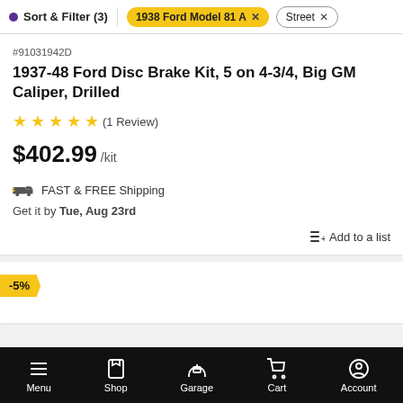Sort & Filter (3)  |  1938 Ford Model 81A  ×  |  Street  ×
#91031942D
1937-48 Ford Disc Brake Kit, 5 on 4-3/4, Big GM Caliper, Drilled
★★★★★ (1 Review)
$402.99 /kit
FAST & FREE Shipping
Get it by Tue, Aug 23rd
Add to a list
-5%
Menu  Shop  Garage  Cart  Account